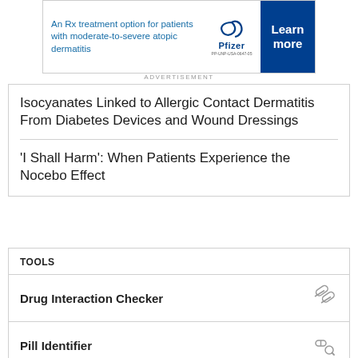[Figure (other): Pfizer advertisement banner for atopic dermatitis treatment with 'Learn more' button]
ADVERTISEMENT
Isocyanates Linked to Allergic Contact Dermatitis From Diabetes Devices and Wound Dressings
'I Shall Harm': When Patients Experience the Nocebo Effect
TOOLS
Drug Interaction Checker
Pill Identifier
Calculators